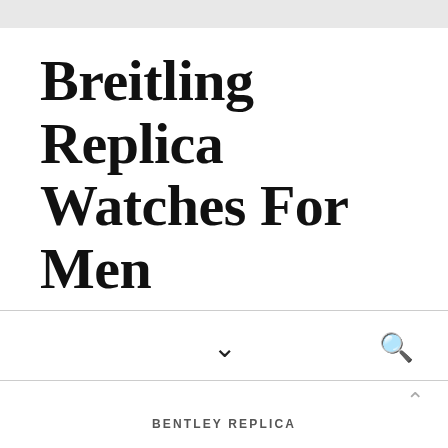Breitling Replica Watches For Men
Cheap Breitling Replica Watches
BENTLEY REPLICA